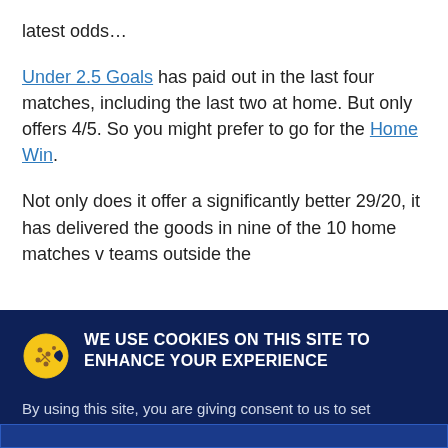latest odds…
Under 2.5 Goals has paid out in the last four matches, including the last two at home. But only offers 4/5. So you might prefer to go for the Home Win.
Not only does it offer a significantly better 29/20, it has delivered the goods in nine of the 10 home matches v teams outside the
WE USE COOKIES ON THIS SITE TO ENHANCE YOUR EXPERIENCE
By using this site, you are giving consent to us to set cookies.